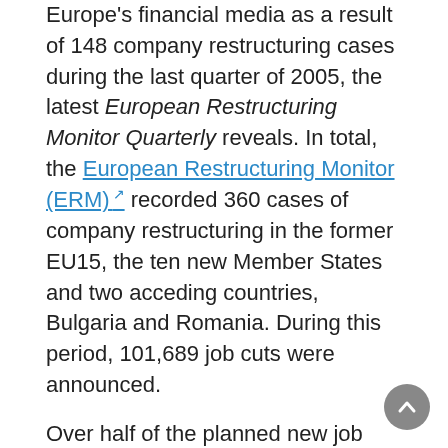Europe's financial media as a result of 148 company restructuring cases during the last quarter of 2005, the latest European Restructuring Monitor Quarterly reveals. In total, the European Restructuring Monitor (ERM) recorded 360 cases of company restructuring in the former EU15, the ten new Member States and two acceding countries, Bulgaria and Romania. During this period, 101,689 job cuts were announced.
Over half of the planned new job creations relate to expanding business activities in the new EU Member States. Out of a total of 44,126 new jobs created in these countries, primarily in the manufacturing, retail, and transport and communication sectors, Poland accounts for 18,002, Romania 13,195 and Slovakia 12,929.
The majority of job losses occurred as a result of internal restructuring, bankruptcies and closures. The